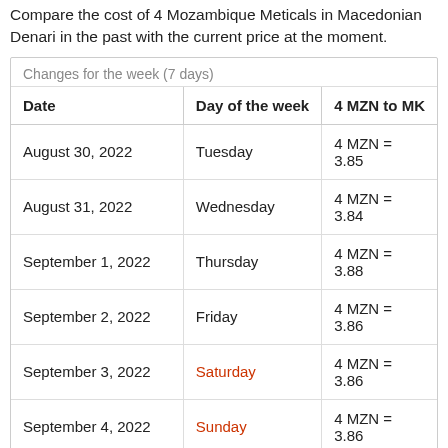Compare the cost of 4 Mozambique Meticals in Macedonian Denari in the past with the current price at the moment.
| Date | Day of the week | 4 MZN to MK |
| --- | --- | --- |
| August 30, 2022 | Tuesday | 4 MZN = 3.85 |
| August 31, 2022 | Wednesday | 4 MZN = 3.84 |
| September 1, 2022 | Thursday | 4 MZN = 3.88 |
| September 2, 2022 | Friday | 4 MZN = 3.86 |
| September 3, 2022 | Saturday | 4 MZN = 3.86 |
| September 4, 2022 | Sunday | 4 MZN = 3.86 |
| September 5, 2022 (today) | Monday | 4 MZN = 3.89 |
| Date | Day of the week | 4 MZN |
| --- | --- | --- |